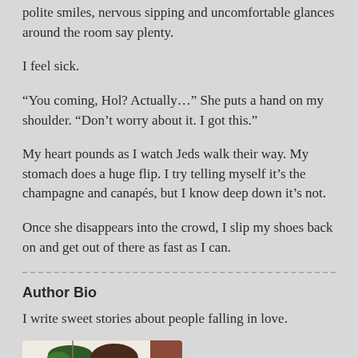polite smiles, nervous sipping and uncomfortable glances around the room say plenty.
I feel sick.
“You coming, Hol? Actually…” She puts a hand on my shoulder. “Don’t worry about it. I got this.”
My heart pounds as I watch Jeds walk their way. My stomach does a huge flip. I try telling myself it’s the champagne and canapés, but I know deep down it’s not.
Once she disappears into the crowd, I slip my shoes back on and get out of there as fast as I can.
Author Bio
I write sweet stories about people falling in love.
[Figure (illustration): Illustrated portrait of a woman with dark hair and glasses, with a hanging plant in the background.]